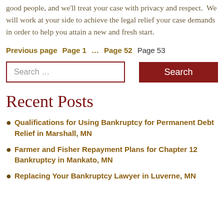good people, and we'll treat your case with privacy and respect.  We will work at your side to achieve the legal relief your case demands in order to help you attain a new and fresh start.
Previous page  Page 1  ...  Page 52  Page 53
Search ...  Search
Recent Posts
Qualifications for Using Bankruptcy for Permanent Debt Relief in Marshall, MN
Farmer and Fisher Repayment Plans for Chapter 12 Bankruptcy in Mankato, MN
Replacing Your Bankruptcy Lawyer in Luverne, MN